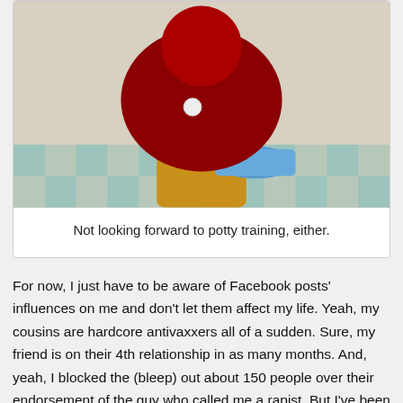[Figure (photo): Photo of Elmo (red Muppet character) sitting on a small blue potty/toilet, wearing what appears to be a yellow outfit or bib. The floor has a checkered tile pattern in teal and white.]
Not looking forward to potty training, either.
For now, I just have to be aware of Facebook posts' influences on me and don't let them affect my life. Yeah, my cousins are hardcore antivaxxers all of a sudden. Sure, my friend is on their 4th relationship in as many months. And, yeah, I blocked the (bleep) out about 150 people over their endorsement of the guy who called me a rapist. But I've been scaling back and letting the bots do most of my work... And using it to post pictures and ask poll questions.